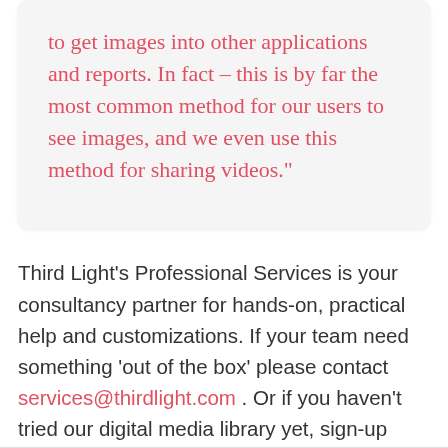to get images into other applications and reports. In fact – this is by far the most common method for our users to see images, and we even use this method for sharing videos."
Third Light's Professional Services is your consultancy partner for hands-on, practical help and customizations. If your team need something 'out of the box' please contact services@thirdlight.com . Or if you haven't tried our digital media library yet, sign-up today for a 30-day free trial.